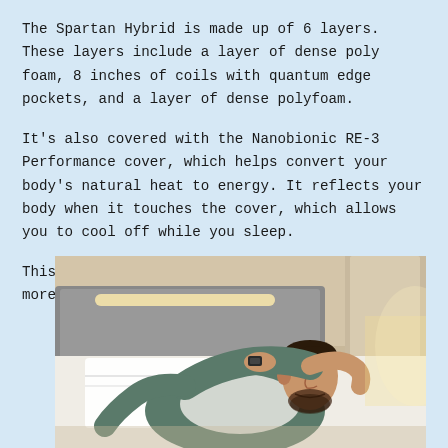The Spartan Hybrid is made up of 6 layers. These layers include a layer of dense poly foam, 8 inches of coils with quantum edge pockets, and a layer of dense polyfoam.
It's also covered with the Nanobionic RE-3 Performance cover, which helps convert your body's natural heat to energy. It reflects your body when it touches the cover, which allows you to cool off while you sleep.
This mattress is great for anyone who weighs more than 250 lbs.
[Figure (photo): A man with a beard lying on a bed with his hands behind his head, eyes closed, resting peacefully. He is wearing a grey shirt. The background shows a headboard and soft lighting.]